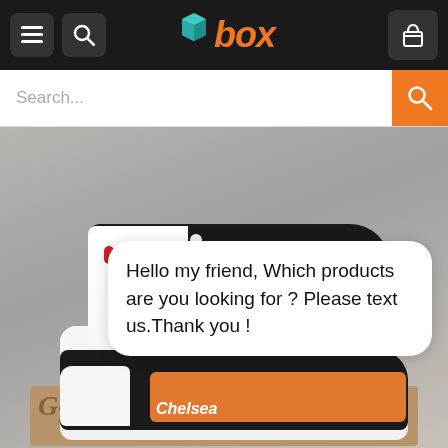[Figure (screenshot): E-commerce website header with hamburger menu icon, search icon, 'box' logo in orange/teal, and shopping cart icon on dark background]
[Figure (screenshot): Search bar with 'Search...' placeholder text and orange search button]
[Figure (photo): Anime-themed custom high-top sneakers featuring Chelsea character from Akame ga Kill, black and orange colorway with anime artwork on the sides, shown from multiple angles on a cardboard box]
Hello my friend, Which products are you looking for ? Please text us.Thank you !